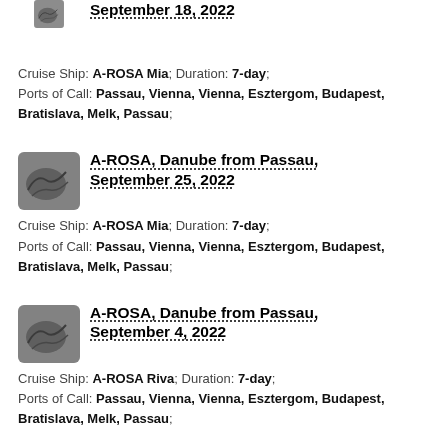September 18, 2022
Cruise Ship: A-ROSA Mia; Duration: 7-day; Ports of Call: Passau, Vienna, Vienna, Esztergom, Budapest, Bratislava, Melk, Passau;
A-ROSA, Danube from Passau, September 25, 2022
Cruise Ship: A-ROSA Mia; Duration: 7-day; Ports of Call: Passau, Vienna, Vienna, Esztergom, Budapest, Bratislava, Melk, Passau;
A-ROSA, Danube from Passau, September 4, 2022
Cruise Ship: A-ROSA Riva; Duration: 7-day; Ports of Call: Passau, Vienna, Vienna, Esztergom, Budapest, Bratislava, Melk, Passau;